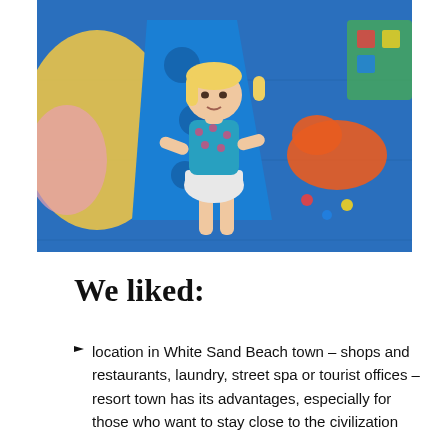[Figure (photo): A young blonde girl in a teal floral top and white skirt standing at the bottom of a blue plastic slide in a colorful indoor playground with foam mat flooring.]
We liked:
location in White Sand Beach town – shops and restaurants, laundry, street spa or tourist offices – resort town has its advantages, especially for those who want to stay close to the civilization